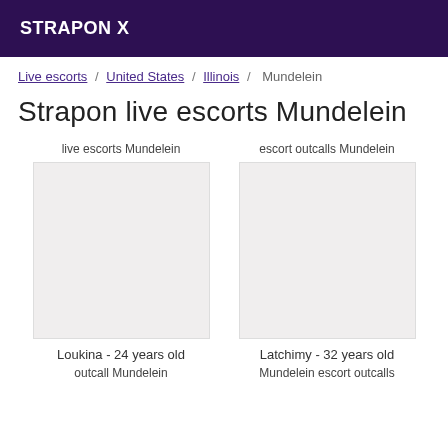STRAPON X
Live escorts / United States / Illinois / Mundelein
Strapon live escorts Mundelein
live escorts Mundelein
escort outcalls Mundelein
Loukina - 24 years old
Latchimy - 32 years old
outcall Mundelein
Mundelein escort outcalls